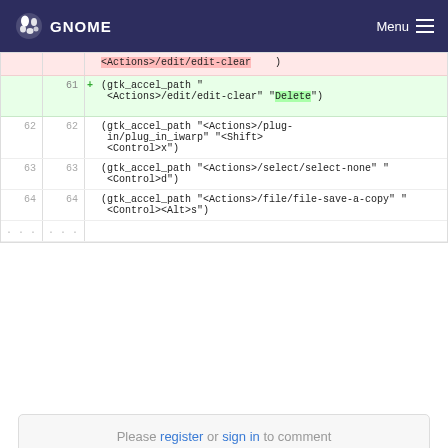GNOME   Menu
(diff code view)
row deleted: <Actions>/edit/edit-clear   )
row 61 added: + (gtk_accel_path "<Actions>/edit/edit-clear" "Delete")
row 62 62: (gtk_accel_path "<Actions>/plug-in/plug_in_iwarp" "<Shift><Control>x")
row 63 63: (gtk_accel_path "<Actions>/select/select-none" "<Control>d")
row 64 64: (gtk_accel_path "<Actions>/file/file-save-a-copy" "<Control><Alt>s")
... ...
Please register or sign in to comment